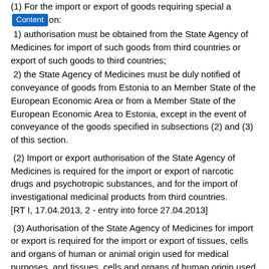(1) For the import or export of goods requiring special authorisation:
1) authorisation must be obtained from the State Agency of Medicines for import of such goods from third countries or export of such goods to third countries;
2) the State Agency of Medicines must be duly notified of conveyance of goods from Estonia to an Member State of the European Economic Area or from a Member State of the European Economic Area to Estonia, except in the event of conveyance of the goods specified in subsections (2) and (3) of this section.
(2) Import or export authorisation of the State Agency of Medicines is required for the import or export of narcotic drugs and psychotropic substances, and for the import of investigational medicinal products from third countries.
[RT I, 17.04.2013, 2 - entry into force 27.04.2013]
(3) Authorisation of the State Agency of Medicines for import or export is required for the import or export of tissues, cells and organs of human or animal origin used for medical purposes, and tissues, cells and organs of human origin used for research purposes on the conditions established under subsection (5) of this section.